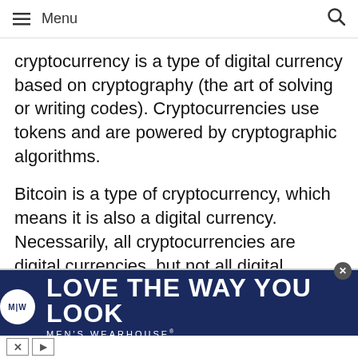≡ Menu  🔍
cryptocurrency is a type of digital currency based on cryptography (the art of solving or writing codes). Cryptocurrencies use tokens and are powered by cryptographic algorithms.
Bitcoin is a type of cryptocurrency, which means it is also a digital currency. Necessarily, all cryptocurrencies are digital currencies, but not all digital currencies are cryptocurrencies.
Now that we have the basic terminology down, we can dive into how Bitcoin works.
[Figure (other): Men's Wearhouse advertisement banner with navy blue background, circular logo with M|W initials, large text reading LOVE THE WAY YOU LOOK and subtext MEN'S WEARHOUSE]